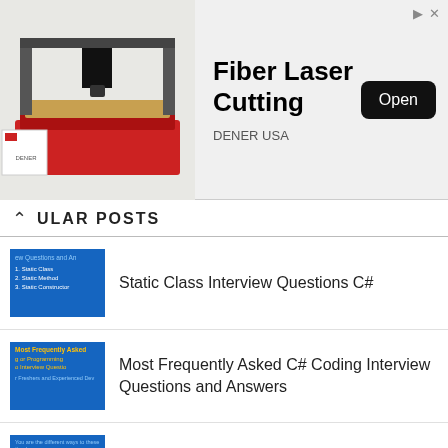[Figure (photo): Advertisement banner for Fiber Laser Cutting by DENER USA showing a CNC laser cutting machine. Includes an Open button.]
POPULAR POSTS
[Figure (screenshot): Thumbnail image for Static Class Interview Questions C# post - blue background with white text listing Static Class, Static Method, Static Constructor]
Static Class Interview Questions C#
[Figure (screenshot): Thumbnail image for Most Frequently Asked C# Coding Interview Questions post - blue background with yellow and white text]
Most Frequently Asked C# Coding Interview Questions and Answers
[Figure (screenshot): Thumbnail image for Different Ways to Check and Delete Duplicate Records in SQL - blue background with text]
Different Ways to Check and Delete Duplicate Records in SQL